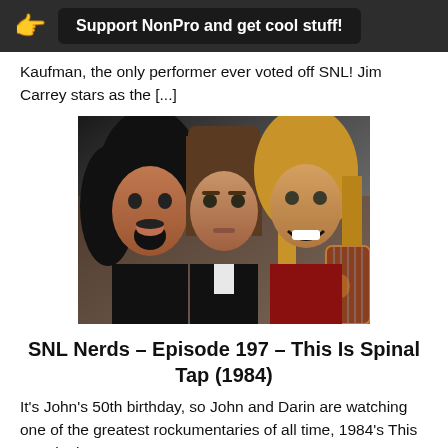Support NonPro and get cool stuff!
Kaufman, the only performer ever voted off SNL! Jim Carrey stars as the [...]
[Figure (photo): Three members of Spinal Tap rock band posing together — leftmost with black curly hair and open mouth, center with straight brown hair looking stern, rightmost with blonde hair holding a guitar and smiling.]
SNL Nerds – Episode 197 – This Is Spinal Tap (1984)
It's John's 50th birthday, so John and Darin are watching one of the greatest rockumentaries of all time, 1984's This Is Spinal